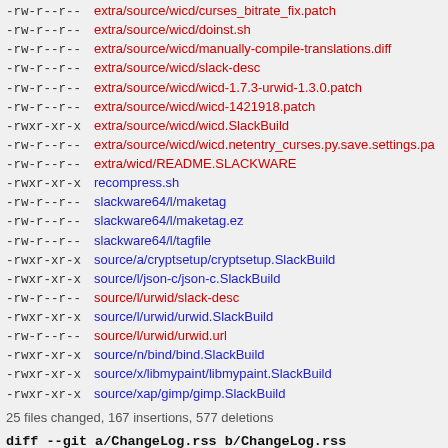-rw-r--r--  extra/source/wicd/curses_bitrate_fix.patch
-rw-r--r--  extra/source/wicd/doinst.sh
-rw-r--r--  extra/source/wicd/manually-compile-translations.diff
-rw-r--r--  extra/source/wicd/slack-desc
-rw-r--r--  extra/source/wicd/wicd-1.7.3-urwid-1.3.0.patch
-rw-r--r--  extra/source/wicd/wicd-1421918.patch
-rwxr-xr-x  extra/source/wicd/wicd.SlackBuild
-rw-r--r--  extra/source/wicd/wicd.netentry_curses.py.save.settings.pa
-rw-r--r--  extra/wicd/README.SLACKWARE
-rwxr-xr-x  recompress.sh
-rw-r--r--  slackware64/l/maketag
-rw-r--r--  slackware64/l/maketag.ez
-rw-r--r--  slackware64/l/tagfile
-rwxr-xr-x  source/a/cryptsetup/cryptsetup.SlackBuild
-rwxr-xr-x  source/l/json-c/json-c.SlackBuild
-rw-r--r--  source/l/urwid/slack-desc
-rwxr-xr-x  source/l/urwid/urwid.SlackBuild
-rw-r--r--  source/l/urwid/urwid.url
-rwxr-xr-x  source/n/bind/bind.SlackBuild
-rwxr-xr-x  source/x/libmypaint/libmypaint.SlackBuild
-rwxr-xr-x  source/xap/gimp/gimp.SlackBuild
25 files changed, 167 insertions, 577 deletions
diff --git a/ChangeLog.rss b/ChangeLog.rss
index a7c96804..a9491a1f 100644